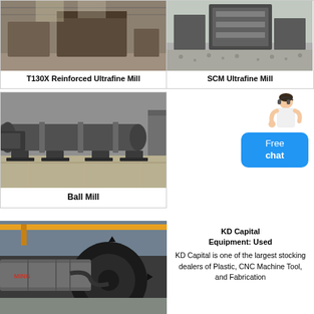[Figure (photo): Industrial facility interior showing T130X Reinforced Ultrafine Mill equipment]
T130X Reinforced Ultrafine Mill
[Figure (photo): SCM Ultrafine Mill machinery in industrial setting]
SCM Ultrafine Mill
[Figure (photo): Large Ball Mill cylindrical grinding machine in industrial facility]
Ball Mill
[Figure (photo): Person (customer service representative) with Free chat button overlay]
[Figure (photo): Close-up of large ball mill gear and cylinder equipment in industrial facility]
KD Capital Equipment: Used KD Capital is one of the largest stocking dealers of Plastic, CNC Machine Tool, and Fabrication